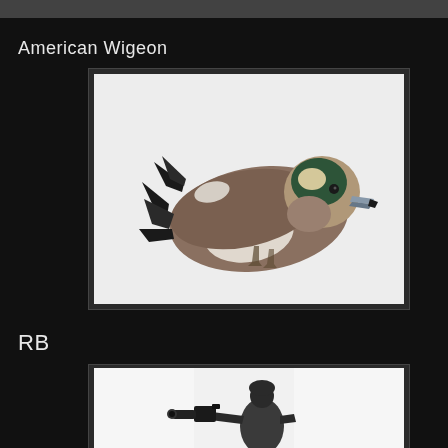[Figure (photo): Top strip of a photo partially visible at top of page]
American Wigeon
[Figure (photo): Photo of an American Wigeon duck sitting on snow, viewed from the side. The duck has a brown body, white belly, dark green head patch, and gray bill. Snowy white background.]
RB
[Figure (photo): Photo of a person (photographer) standing in foggy/snowy white conditions, silhouetted, holding a camera up to their eye with a long lens.]